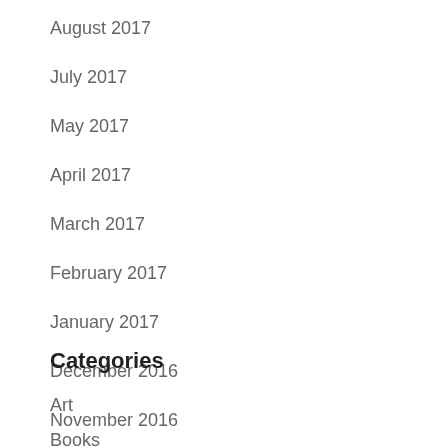August 2017
July 2017
May 2017
April 2017
March 2017
February 2017
January 2017
December 2016
November 2016
October 2016
September 2016
Categories
Art
Books